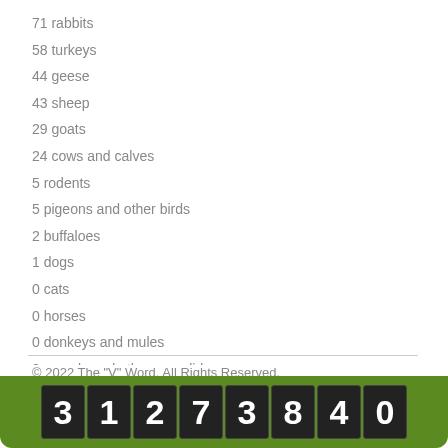71 rabbits
58 turkeys
44 geese
43 sheep
29 goats
24 cows and calves
5 rodents
5 pigeons and other birds
2 buffaloes
1 dogs
0 cats
0 horses
0 donkeys and mules
0 camels and other camelids
© 2022 The "V" Word. All Rights Reserved.
Site By Vegan Web Design
[Figure (other): Odometer-style counter display showing the number 31273840 on a green background bar]